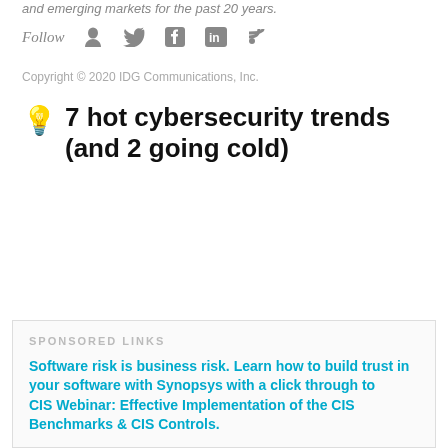and emerging markets for the past 20 years.
Follow
Copyright © 2020 IDG Communications, Inc.
7 hot cybersecurity trends (and 2 going cold)
SPONSORED LINKS
Software risk is business risk. Learn how to build trust in your software with Synopsys with a click through to
CIS Webinar: Effective Implementation of the CIS Benchmarks & CIS Controls.